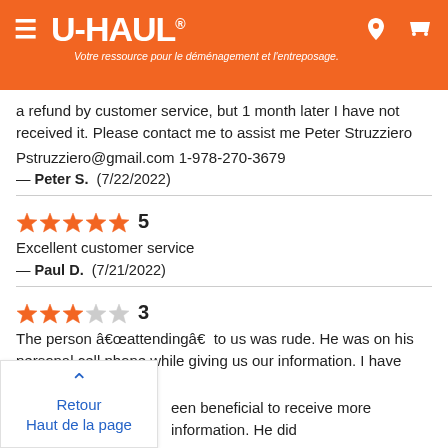[Figure (logo): U-HAUL website header with orange background, hamburger menu, U-HAUL logo, location and cart icons, subtitle in French: Votre ressource pour le déménagement et l'entreposage.]
a refund by customer service, but 1 month later I have not received it. Please contact me to assist me Peter Struzziero Pstruzziero@gmail.com 1-978-270-3679
— Peter S.  (7/22/2022)
★★★★★ 5
Excellent customer service
— Paul D.  (7/21/2022)
★★★☆☆ 3
The person â€œattendingâ€ to us was rude. He was on his personal cell phone while giving us our information. I have never rented a uhaul een beneficial to receive more information. He did dentify which truck was ours, only stating which e was three trucks in our lane. Another customer outside who was also upset with his service was the one to tell us the